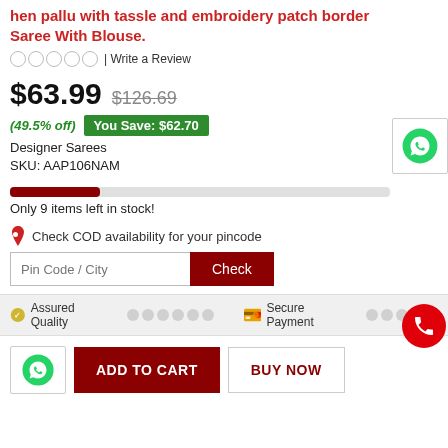hen pallu with tassle and embroidery patch border Saree With Blouse.
☆☆☆☆☆ | Write a Review
$63.99  $126.69
(49.5% off)  You Save: $62.70
Designer Sarees
SKU: AAP106NAM
Only 9 items left in stock!
Check COD availability for your pincode
Pin Code / City  Check
Assured Quality   Secure Payment
ADD TO CART  BUY NOW